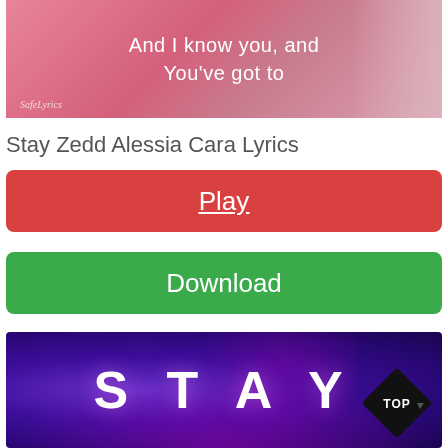[Figure (illustration): Pink background with white text 'And I know you, and You've got to' and a person visible on the right, with 'SafeLyrics' watermark in bottom left]
Stay Zedd Alessia Cara Lyrics
[Figure (other): Red rounded rectangle button with underlined white text 'Play']
[Figure (other): Green rounded rectangle button with white text 'Download']
[Figure (illustration): Dark purple/blue gradient background with large white bold text 'STAY' and a 'TOP' diamond badge in the bottom right corner]